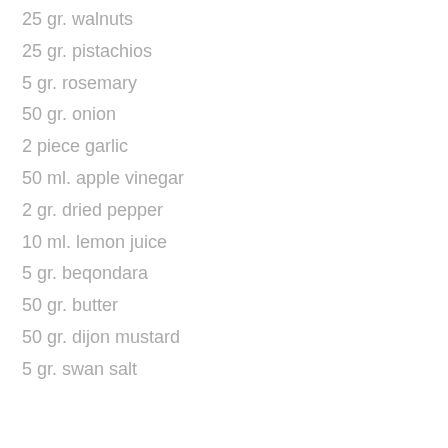25 gr. walnuts
25 gr. pistachios
5 gr. rosemary
50 gr. onion
2 piece garlic
50 ml. apple vinegar
2 gr. dried pepper
10 ml. lemon juice
5 gr. beqondara
50 gr. butter
50 gr. dijon mustard
5 gr. swan salt